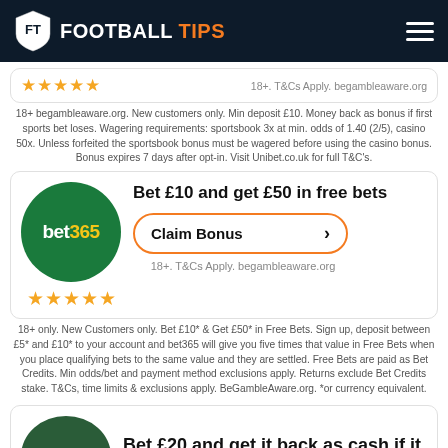FOOTBALL TIPS
18+ begambleaware.org. New customers only. Min deposit £10. Money back as bonus if first sports bet loses. Wagering requirements: sportsbook 3x at min. odds of 1.40 (2/5), casino 50x. Unless forfeited the sportsbook bonus must be wagered before using the casino bonus. Bonus expires 7 days after opt-in. Visit Unibet.co.uk for full T&C's.
[Figure (logo): bet365 logo - green circle with bet365 text]
Bet £10 and get £50 in free bets
Claim Bonus
18+. T&Cs Apply. begambleaware.org
18+ only. New Customers only. Bet £10* & Get £50* in Free Bets. Sign up, deposit between £5* and £10* to your account and bet365 will give you five times that value in Free Bets when you place qualifying bets to the same value and they are settled. Free Bets are paid as Bet Credits. Min odds/bet and payment method exclusions apply. Returns exclude Bet Credits stake. T&Cs, time limits & exclusions apply. BeGambleAware.org. *or currency equivalent.
[Figure (logo): Paddy Power logo - dark green circle]
Bet £20 and get it back as cash if it loses